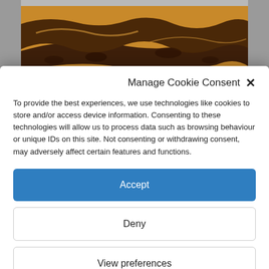[Figure (photo): Close-up photograph of a baked cookie or pastry showing golden-brown and chocolate-colored textures on a light background]
Manage Cookie Consent
To provide the best experiences, we use technologies like cookies to store and/or access device information. Consenting to these technologies will allow us to process data such as browsing behaviour or unique IDs on this site. Not consenting or withdrawing consent, may adversely affect certain features and functions.
Accept
Deny
View preferences